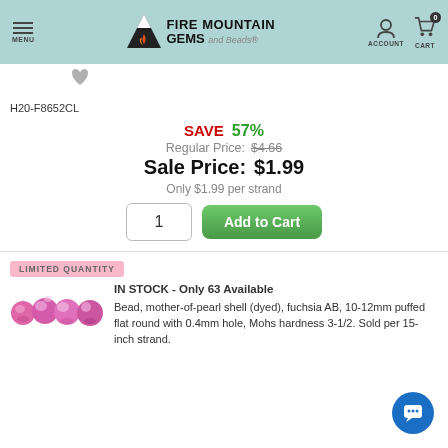Fire Mountain Gems and Beads — MENU | ACCOUNT | CART 0
H20-F8652CL
SAVE 57%
Regular Price: $4.66
Sale Price: $1.99
Only $1.99 per strand
LIMITED QUANTITY
IN STOCK - Only 63 Available
Bead, mother-of-pearl shell (dyed), fuchsia AB, 10-12mm puffed flat round with 0.4mm hole, Mohs hardness 3-1/2. Sold per 15-inch strand.